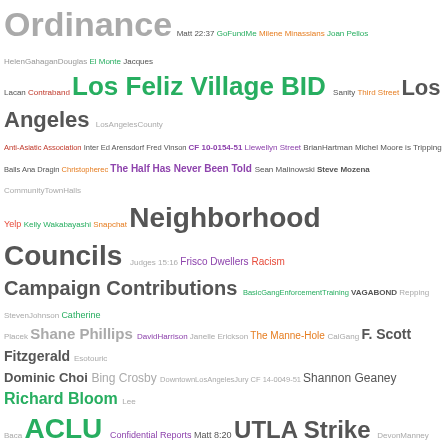[Figure (other): A word cloud containing legal, civic, and political terms and names of varying sizes and colors including: Ordinance, Los Feliz Village BID, Los Angeles, Neighborhood Councils, Campaign Contributions, Shane Phillips, F. Scott Fitzgerald, ACLU, UTLA Strike, Economic Development Committee, Hollywood Courthouse, Advisory Committee on Building Trust and Equity, Carol Schatz, Revolving Door Law, Muralismo, Venice Neighborhood Council, Federal District Court, National Lawyers Guild, Twitter, California Association of Realtors, Jessica Levinson, Schrader Blvd, Melrose BID, Catherine Sweetser, and many more.]